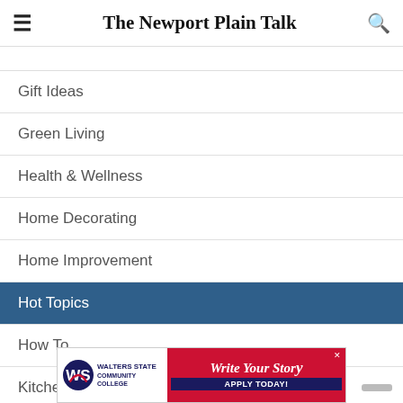The Newport Plain Talk
Gift Ideas
Green Living
Health & Wellness
Home Decorating
Home Improvement
Hot Topics
How To
Kitchen, Bed & Bath
[Figure (infographic): Walters State Community College advertisement: Write Your Story - Apply Today!]